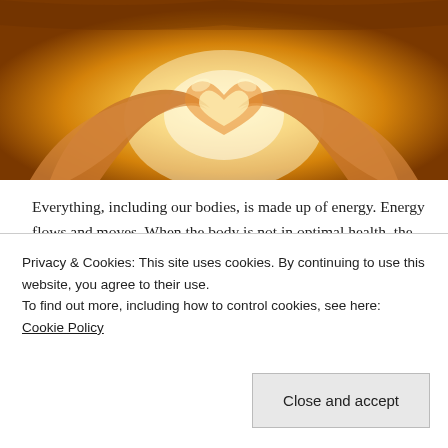[Figure (photo): Hands forming a heart shape against a warm golden/orange glowing background, viewed from above]
Everything, including our bodies, is made up of energy. Energy flows and moves. When the body is not in optimal health, the energy flow can be slow and stagnant, operating at a lower vibration. The purpose of energy healing is to open up blocked channels of energy and to send energy to areas of the body which are injured or dense with stale energy. I have learned a lot about how
Privacy & Cookies: This site uses cookies. By continuing to use this website, you agree to their use.
To find out more, including how to control cookies, see here: Cookie Policy
Close and accept